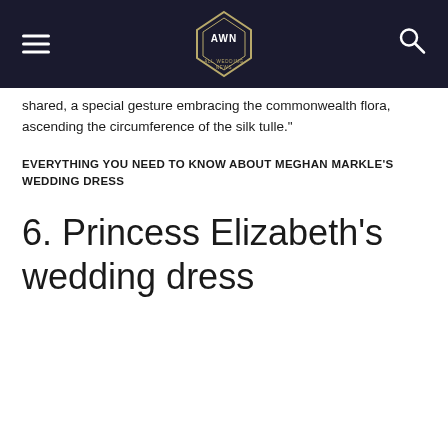AWN All Wedding News
shared, a special gesture embracing the commonwealth flora, ascending the circumference of the silk tulle."
EVERYTHING YOU NEED TO KNOW ABOUT MEGHAN MARKLE'S WEDDING DRESS
6. Princess Elizabeth's wedding dress